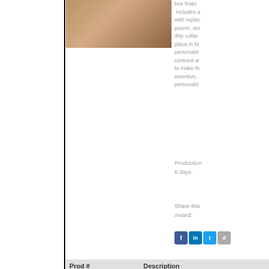[Figure (photo): Product image of a wooden box/item shown from top portion]
box featu includes a with replaceable pourer, sto drip collar place in bl personaliz contrast w to make th incentive, personaliz
Production 6 days.
Share this Award:
| Prod # | Description |
| --- | --- |
| AE1-WTL80 | 10-1/2" x 8-3/8' x 2-1/ |
[Figure (photo): Lower product image showing Leatherette Bamboo item]
Leatherette Bamboo